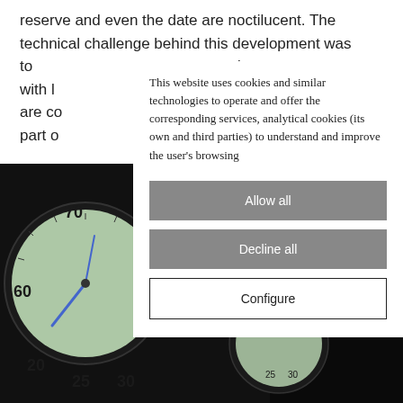reserve and even the date are noctilucent. The technical challenge behind this development was to [obscured] date with [obscured] em are co[obscured]ter part o[obscured]
[Figure (photo): Close-up photograph of watch dials/gauges with green luminous numerals on dark background, partially obscured by cookie consent modal]
This website uses cookies and similar technologies to operate and offer the corresponding services, analytical cookies (its own and third parties) to understand and improve the user's browsing
Allow all
Decline all
Configure